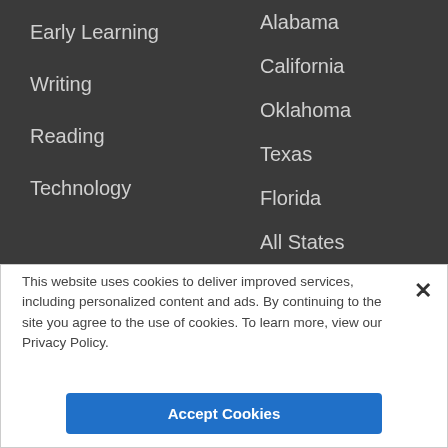Early Learning
Writing
Reading
Technology
Alabama
California
Oklahoma
Texas
Florida
All States
This website uses cookies to deliver improved services, including personalized content and ads. By continuing to the site you agree to the use of cookies. To learn more, view our Privacy Policy.